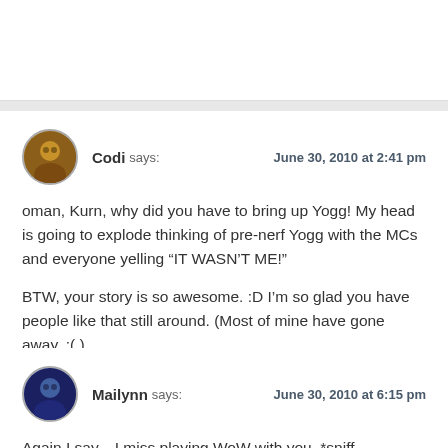Codi says: June 30, 2010 at 2:41 pm
oun, Kurn, why did you have to bring up Yogg! My head is going to explode thinking of pre-nerf Yogg with the MCs and everyone yelling “IT WASN’T ME!”

BTW, your story is so awesome. :D I’m so glad you have people like that still around. (Most of mine have gone away. :( )
Mailynn says: June 30, 2010 at 6:15 pm
Again I say... I miss playing WoW with you. *sniff